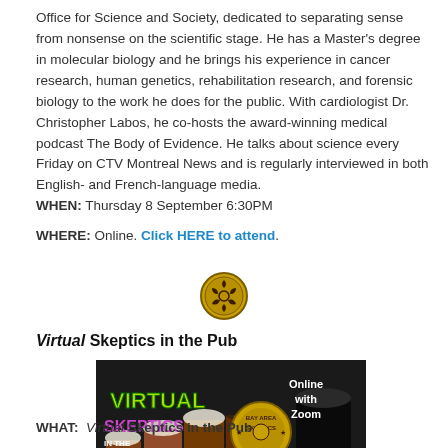Office for Science and Society, dedicated to separating sense from nonsense on the scientific stage. He has a Master's degree in molecular biology and he brings his experience in cancer research, human genetics, rehabilitation research, and forensic biology to the work he does for the public. With cardiologist Dr. Christopher Labos, he co-hosts the award-winning medical podcast The Body of Evidence. He talks about science every Friday on CTV Montreal News and is regularly interviewed in both English- and French-language media.
WHEN: Thursday 8 September 6:30PM
WHERE: Online. Click HERE to attend.
[Figure (logo): Bay Area Skeptics circular logo in yellow and black]
Virtual Skeptics in the Pub
[Figure (photo): Virtual Skeptics in the Pub banner image with beer mugs and Bay Area Skeptics logo, Online with Zoom text]
WHAT:  Virtual Skeptics in the Pub